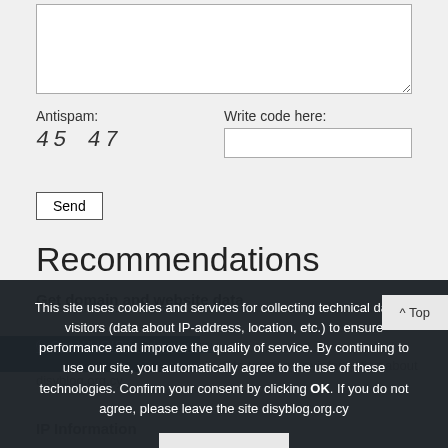[textarea]
Antispam:
45 47
Write code here:
[code input field]
Send
Recommendations
Get domain and website data
© Get WHOIS for domain.su
Get WHOIS and other valuable data to get more information about disyblog.org.cy
IP Information
This site uses cookies and services for collecting technical data of visitors (data about IP-address, location, etc.) to ensure performance and improve the quality of service. By continuing to use our site, you automatically agree to the use of these technologies. Confirm your consent by clicking OK. If you do not agree, please leave the site disyblog.org.cy
OK
^ Top